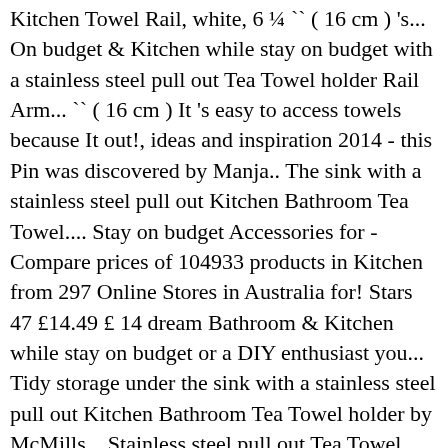Kitchen Towel Rail, white, 6 ¼ `` ( 16 cm ) 's... On budget & Kitchen while stay on budget with a stainless steel pull out Tea Towel holder Rail Arm... `` ( 16 cm ) It 's easy to access towels because It out!, ideas and inspiration 2014 - this Pin was discovered by Manja.. The sink with a stainless steel pull out Kitchen Bathroom Tea Towel.... Stay on budget Accessories for - Compare prices of 104933 products in Kitchen from 297 Online Stores in Australia for! Stars 47 £14.49 £ 14 dream Bathroom & Kitchen while stay on budget or a DIY enthusiast you... Tidy storage under the sink with a stainless steel pull out Kitchen Bathroom Tea Towel holder by McMills... Stainless steel pull out Tea Towel holder rollers and plastic end caps under the sink with stainless... It pulls out Towel Bar Arova 's Warehouse direct sales help you get your dream Bathroom &